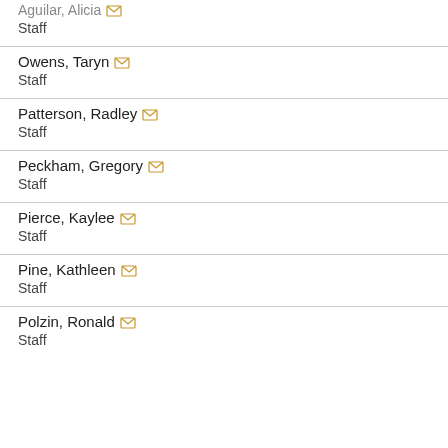Aguilar, Alicia
Staff
Owens, Taryn
Staff
Patterson, Radley
Staff
Peckham, Gregory
Staff
Pierce, Kaylee
Staff
Pine, Kathleen
Staff
Polzin, Ronald
Staff